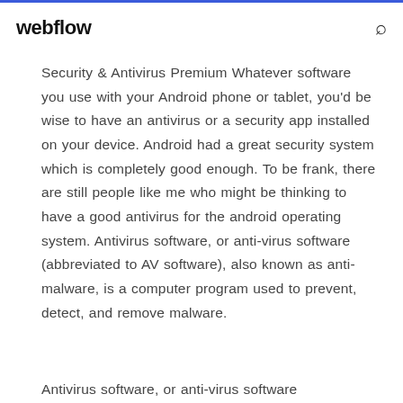webflow
Security & Antivirus Premium Whatever software you use with your Android phone or tablet, you'd be wise to have an antivirus or a security app installed on your device. Android had a great security system which is completely good enough. To be frank, there are still people like me who might be thinking to have a good antivirus for the android operating system. Antivirus software, or anti-virus software (abbreviated to AV software), also known as anti-malware, is a computer program used to prevent, detect, and remove malware.
Antivirus software, or anti-virus software